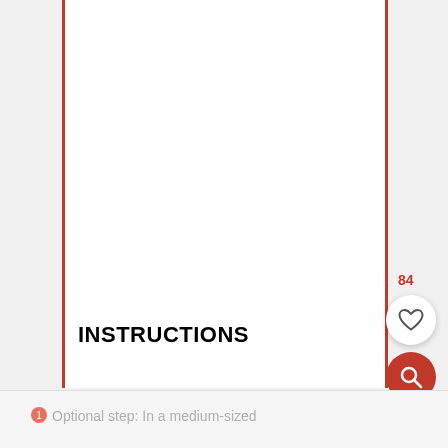INSTRUCTIONS
Optional step: In a medium-sized
84